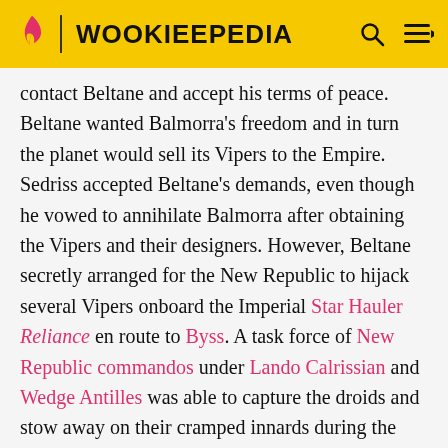WOOKIEEPEDIA
contact Beltane and accept his terms of peace. Beltane wanted Balmorra's freedom and in turn the planet would sell its Vipers to the Empire. Sedriss accepted Beltane's demands, even though he vowed to annihilate Balmorra after obtaining the Vipers and their designers. However, Beltane secretly arranged for the New Republic to hijack several Vipers onboard the Imperial Star Hauler Reliance en route to Byss. A task force of New Republic commandos under Lando Calrissian and Wedge Antilles was able to capture the droids and stow away on their cramped innards during the journey to the Imperial throneworld of Byss in the Deep Core. The New Republic hoped to utilize the Vipers to attack the Emperor's Citadel and disrupt Imperial war effort.